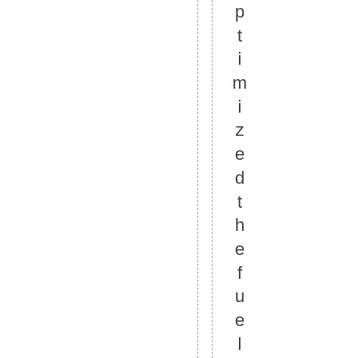ptimizedthefuel(thelithiumandd